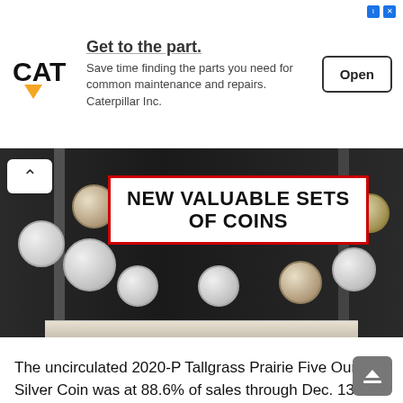[Figure (other): CAT (Caterpillar) advertisement banner with logo, headline 'Get to the part.', body text, and Open button]
[Figure (photo): Photo of a coin set display case with multiple silver and gold proof coins on a dark background, overlaid with white box reading 'NEW VALUABLE SETS OF COINS']
The uncirculated 2020-P Tallgrass Prairie Five Ounce Silver Coin was at 88.6% of sales through Dec. 13 Two more products from the United States Mint made their first appearances on the sales tracking tables this week, the 2020 Limited Edition Silver Proof Set and the 2020-P Tallgrass Prairie National